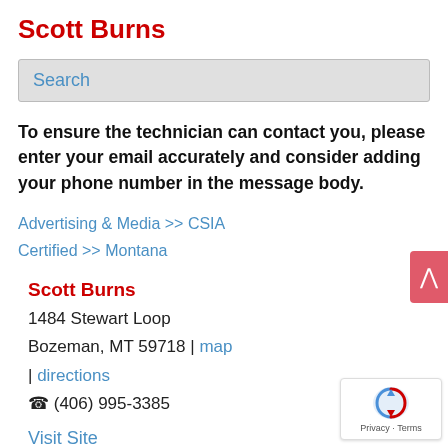Scott Burns
Search
To ensure the technician can contact you, please enter your email accurately and consider adding your phone number in the message body.
Advertising & Media >> CSIA
Certified >> Montana
Scott Burns
1484 Stewart Loop
Bozeman, MT 59718 | map | directions
☎ (406) 995-3385
Visit Site